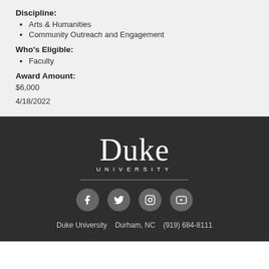Discipline:
Arts & Humanities
Community Outreach and Engagement
Who's Eligible:
Faculty
Award Amount:
$6,000
4/18/2022
[Figure (logo): Duke University logo with large serif 'Duke' text and 'UNIVERSITY' in spaced caps below, followed by a horizontal divider line, social media icons (Facebook, Twitter, Instagram, YouTube), and contact info: Duke University  Durham, NC  (919) 684-8111]